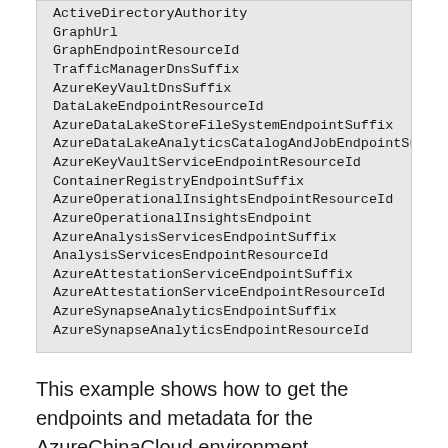ActiveDirectoryAuthority
GraphUrl
GraphEndpointResourceId
TrafficManagerDnsSuffix
AzureKeyVaultDnsSuffix
DataLakeEndpointResourceId
AzureDataLakeStoreFileSystemEndpointSuffix
AzureDataLakeAnalyticsCatalogAndJobEndpointSuff...
AzureKeyVaultServiceEndpointResourceId
ContainerRegistryEndpointSuffix
AzureOperationalInsightsEndpointResourceId
AzureOperationalInsightsEndpoint
AzureAnalysisServicesEndpointSuffix
AnalysisServicesEndpointResourceId
AzureAttestationServiceEndpointSuffix
AzureAttestationServiceEndpointResourceId
AzureSynapseAnalyticsEndpointSuffix
AzureSynapseAnalyticsEndpointResourceId
This example shows how to get the endpoints and metadata for the AzureChinaCloud environment.